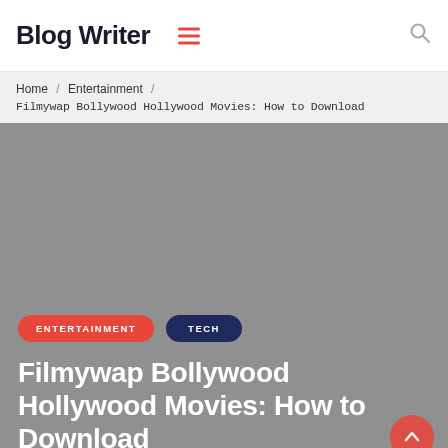Blog Writer
Home / Entertainment / Filmywap Bollywood Hollywood Movies: How to Download
[Figure (screenshot): Gray hero/banner image area with no visible content]
ENTERTAINMENT   TECH
Filmywap Bollywood Hollywood Movies: How to Download